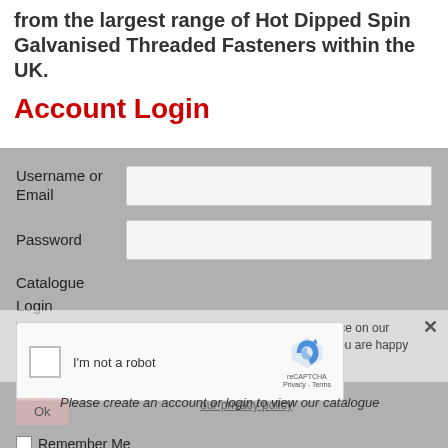from the largest range of Hot Dipped Spin Galvanised Threaded Fasteners within the UK.
Account Login
[Figure (screenshot): Account login form with Username/Email field, Password field, Catalogue Login label, reCAPTCHA widget, cookie consent overlay, and catalogue message overlay.]